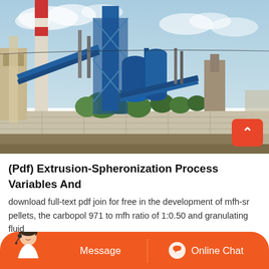[Figure (photo): Industrial facility with tall blue chimney/tower structures, conveyor belts, pipes, and processing equipment against a cloudy sky. A concrete perimeter wall is visible in the foreground with trees behind it.]
(Pdf) Extrusion-Spheronization Process Variables And
download full-text pdf join for free in the development of mfh-sr pellets, the carbopol 971 to mfh ratio of 1:0.50 and granulating fluid